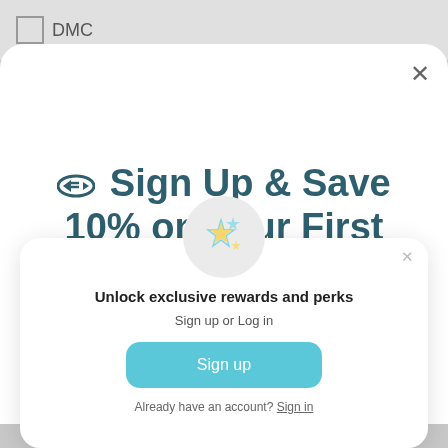DMC
✏ Sign Up & Save 10% on your First Order
[Figure (illustration): Sparkle/stars emoji icon inside a light gray circle]
Unlock exclusive rewards and perks
Sign up or Log in
Sign up
Already have an account? Sign in